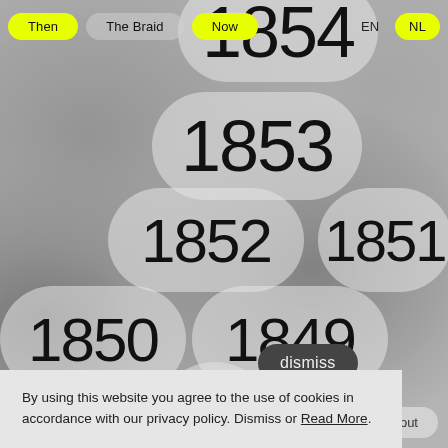Then  The Braid  Now  EN  NL
[Figure (screenshot): Website navigation and year-selection interface showing years 1854, 1853, 1852, 1851, 1850, 1849 as pill-shaped clickable bubbles on a textured gray stone background, with a dismiss button and cookie consent notice]
By using this website you agree to the use of cookies in accordance with our privacy policy. Dismiss or Read More.
about